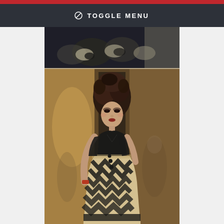⊘ TOGGLE MENU
[Figure (photo): Fashion show photograph: top portion shows a close-up of a black and white patterned garment. Main image shows a female model walking the runway wearing a black top with a bold black, white, and beige chevron/zigzag patterned dress. The model has voluminous curly hair and dramatic makeup. The venue appears to be an indoor restaurant or event space with warm lighting.]